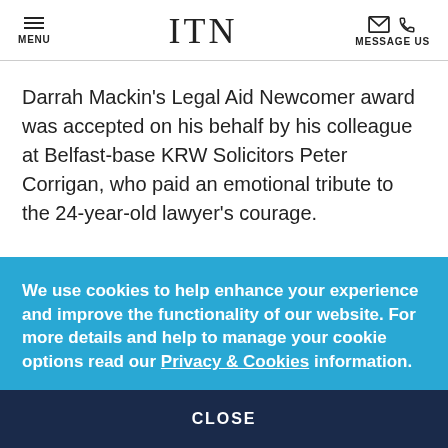MENU | ITN | MESSAGE US
Darrah Mackin's Legal Aid Newcomer award was accepted on his behalf by his colleague at Belfast-base KRW Solicitors Peter Corrigan, who paid an emotional tribute to the 24-year-old lawyer's courage.
We use cookies to help enhance your experience and improve the functionality of our website. For more details and help to manage your cookie options read our Privacy & Cookies information.
CLOSE